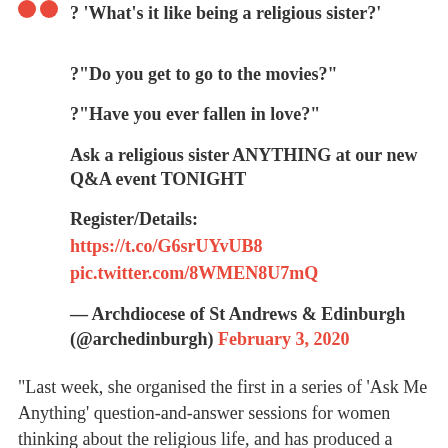? 'What's it like being a religious sister?'
?"Do you get to go to the movies?"
?"Have you ever fallen in love?"
Ask a religious sister ANYTHING at our new Q&A event TONIGHT
Register/Details:
https://t.co/G6srUYvUB8
pic.twitter.com/8WMEN8U7mQ
— Archdiocese of St Andrews & Edinburgh (@archedinburgh) February 3, 2020
"Last week, she organised the first in a series of 'Ask Me Anything' question-and-answer sessions for women thinking about the religious life, and has produced a prayer card